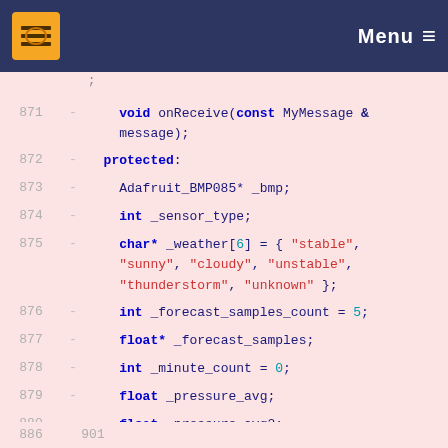Open Tools  Menu
871 - void onReceive(const MyMessage &message);
872 - protected:
873 - Adafruit_BMP085* _bmp;
874 - int _sensor_type;
875 - char* _weather[6] = { "stable", "sunny", "cloudy", "unstable", "thunderstorm", "unknown" };
876 - int _forecast_samples_count = 5;
877 - float* _forecast_samples;
878 - int _minute_count = 0;
879 - float _pressure_avg;
880 - float _pressure_avg2;
881 - float _dP_dt;
882 - bool _first_round = true;
883 - float _getLastPressureSamplesAverage();
884 - };
885 - #endif
886  901